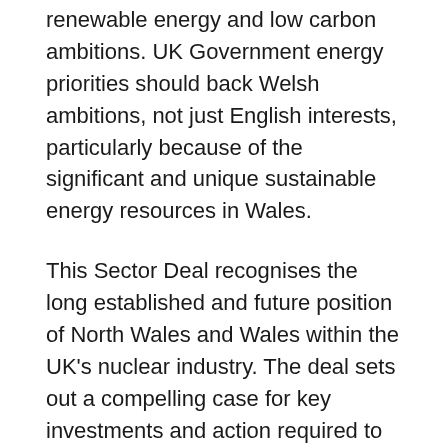renewable energy and low carbon ambitions. UK Government energy priorities should back Welsh ambitions, not just English interests, particularly because of the significant and unique sustainable energy resources in Wales.
This Sector Deal recognises the long established and future position of North Wales and Wales within the UK's nuclear industry. The deal sets out a compelling case for key investments and action required to underpin the sector's competitiveness and growth potential.
Looking ahead, we now require more detail from UK Government on the timeframe and mechanisms for delivering the pledges announced today. This detail will ensure that we can collectively exploit the huge potential North Wales offers in delivering a Nuclear Sector Deal for the